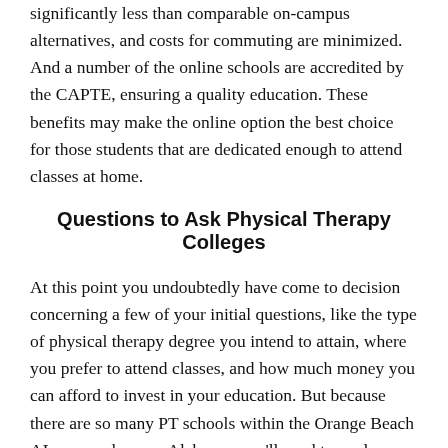significantly less than comparable on-campus alternatives, and costs for commuting are minimized. And a number of the online schools are accredited by the CAPTE, ensuring a quality education. These benefits may make the online option the best choice for those students that are dedicated enough to attend classes at home.
Questions to Ask Physical Therapy Colleges
At this point you undoubtedly have come to decision concerning a few of your initial questions, like the type of physical therapy degree you intend to attain, where you prefer to attend classes, and how much money you can afford to invest in your education. But because there are so many PT schools within the Orange Beach AL area and across Alabama, you'll need to explore other qualifications as well in order to further narrow your list of school options. Furthermore, you want to make certain that you select the college that is right for you. That's the reason we have put